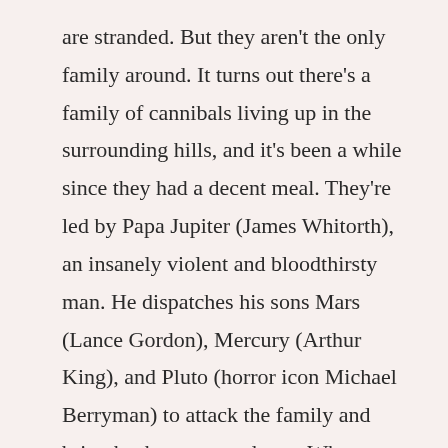are stranded. But they aren't the only family around. It turns out there's a family of cannibals living up in the surrounding hills, and it's been a while since they had a decent meal. They're led by Papa Jupiter (James Whitorth), an insanely violent and bloodthirsty man. He dispatches his sons Mars (Lance Gordon), Mercury (Arthur King), and Pluto (horror icon Michael Berryman) to attack the family and bring back some good eats. What follows is another study in violence as brought to viewers by Wes Craven.